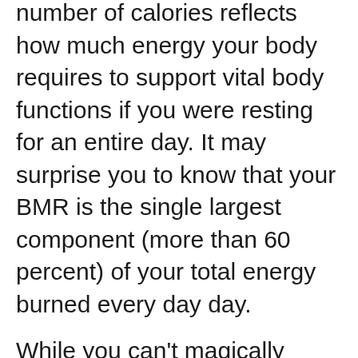number of calories reflects how much energy your body requires to support vital body functions if you were resting for an entire day. It may surprise you to know that your BMR is the single largest component (more than 60 percent) of your total energy burned every day day.
While you can't magically change your BMR right away, knowing your personal number, how it's calculated, and which factors most influence your metabolism, can help you use your BMR to create a smarter strategy for weight loss (or maintenance).